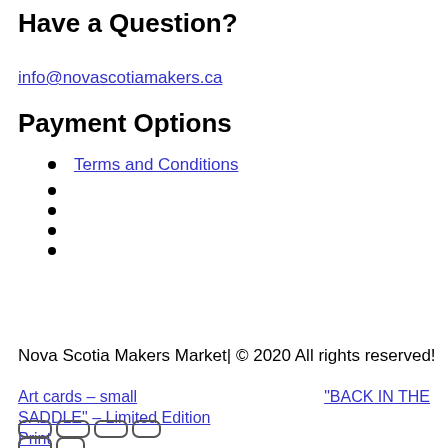Have a Question?
info@novascotiamakers.ca
Payment Options
Terms and Conditions
Nova Scotia Makers Market| © 2020 All rights reserved!
Art cards – small
"BACK IN THE SADDLE" – Limited Edition Print